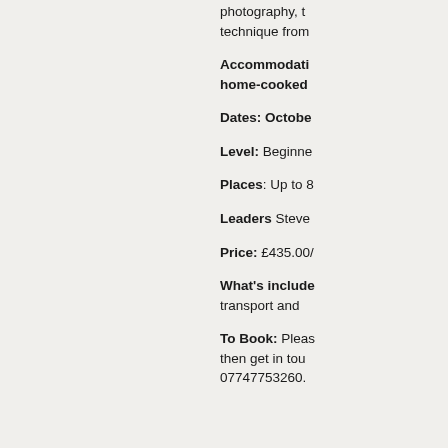photography, technique from
Accommodation: home-cooked
Dates: October
Level: Beginne
Places: Up to 8
Leaders Steve
Price: £435.00/
What's included transport and
To Book: Please then get in touch 07747753260.